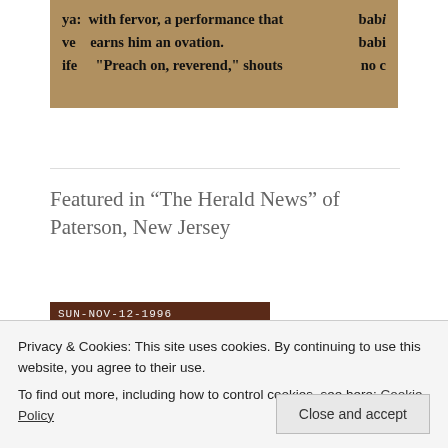[Figure (photo): Aged newspaper clipping showing partial text: 'ya: with fervor, a performance that', 'ove earns him an ovation. babi', 'ife "Preach on, reverend," shouts no c']
Featured in “The Herald News” of Paterson, New Jersey
[Figure (photo): Photograph with handwritten label 'SUN-NOV-12-1996' at top, showing a dark reddish-brown image below]
[Figure (photo): Partial newspaper clipping at bottom showing text about 'A Paterson' and 'his mother, Geneva, M']
Privacy & Cookies: This site uses cookies. By continuing to use this website, you agree to their use.
To find out more, including how to control cookies, see here: Cookie Policy
Close and accept